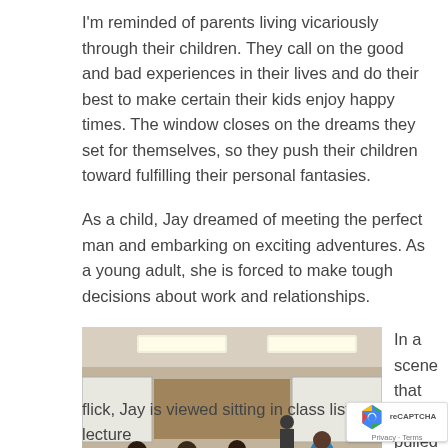I'm reminded of parents living vicariously through their children. They call on the good and bad experiences in their lives and do their best to make certain their kids enjoy happy times. The window closes on the dreams they set for themselves, so they push their children toward fulfilling their personal fantasies.
As a child, Jay dreamed of meeting the perfect man and embarking on exciting adventures. As a young adult, she is forced to make tough decisions about work and relationships.
[Figure (photo): A classroom scene viewed from behind, showing students sitting at desks listening to a lecture. A whiteboard is visible at the front of the room.]
In a scene that feels pulled from a John Carpen
flick, Jay is viewed sitting in class listening to a lecture